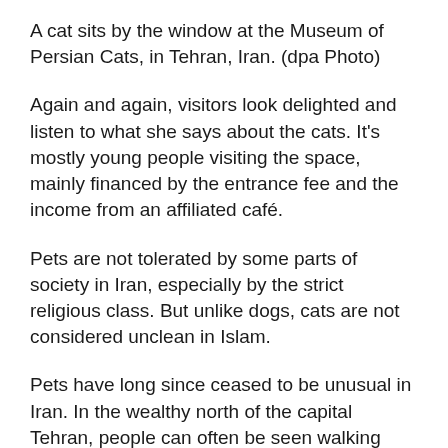A cat sits by the window at the Museum of Persian Cats, in Tehran, Iran. (dpa Photo)
Again and again, visitors look delighted and listen to what she says about the cats. It’s mostly young people visiting the space, mainly financed by the entrance fee and the income from an affiliated café.
Pets are not tolerated by some parts of society in Iran, especially by the strict religious class. But unlike dogs, cats are not considered unclean in Islam.
Pets have long since ceased to be unusual in Iran. In the wealthy north of the capital Tehran, people can often be seen walking small dogs.